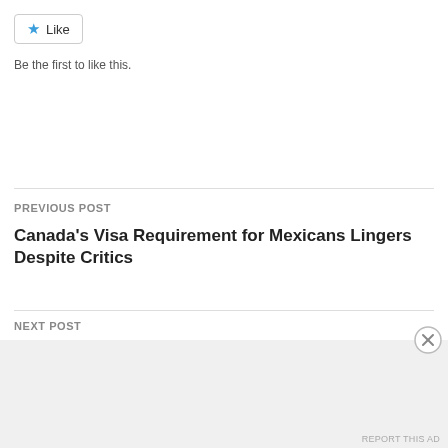[Figure (other): Like button widget with blue star icon]
Be the first to like this.
PREVIOUS POST
Canada's Visa Requirement for Mexicans Lingers Despite Critics
NEXT POST
May & June 2014
LEAVE A REPLY
Advertisements